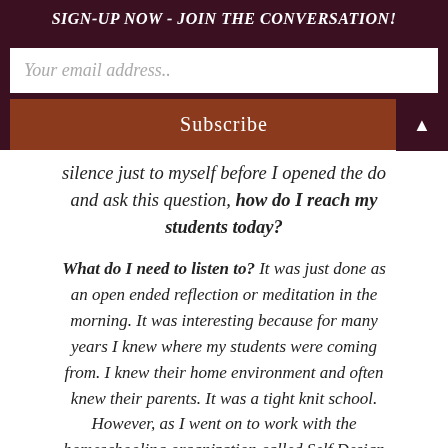SIGN-UP NOW - JOIN THE CONVERSATION!
Your email address..
Subscribe
silence just to myself before I opened the do and ask this question, how do I reach my students today?
What do I need to listen to? It was just done as an open ended reflection or meditation in the morning. It was interesting because for many years I knew where my students were coming from. I knew their home environment and often knew their parents. It was a tight knit school. However, as I went on to work with the homeschooling organization called Self Design